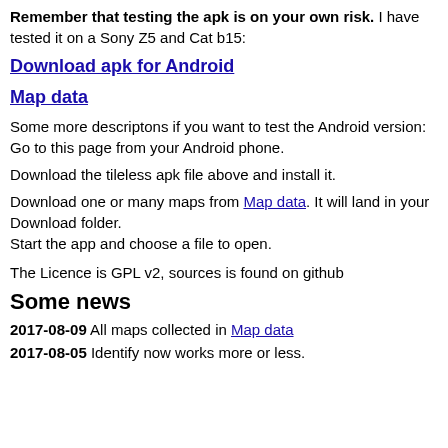Remember that testing the apk is on your own risk. I have tested it on a Sony Z5 and Cat b15:
Download apk for Android
Map data
Some more descriptons if you want to test the Android version: Go to this page from your Android phone.
Download the tileless apk file above and install it.
Download one or many maps from Map data. It will land in your Download folder.
Start the app and choose a file to open.
The Licence is GPL v2, sources is found on github
Some news
2017-08-09 All maps collected in Map data
2017-08-05 Identify now works more or less.